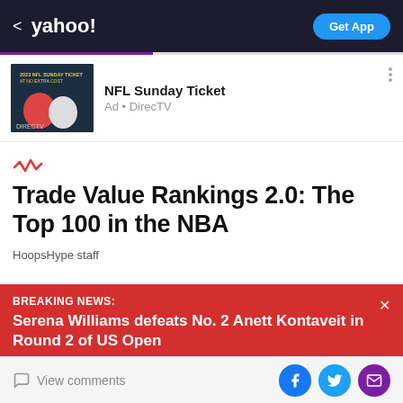< yahoo!  Get App
[Figure (screenshot): NFL Sunday Ticket ad image with DirecTV branding and football players]
NFL Sunday Ticket
Ad • DirecTV
[Figure (logo): Red pulse/heartbeat icon from Yahoo]
Trade Value Rankings 2.0: The Top 100 in the NBA
HoopsHype staff
BREAKING NEWS:
Serena Williams defeats No. 2 Anett Kontaveit in Round 2 of US Open
View comments